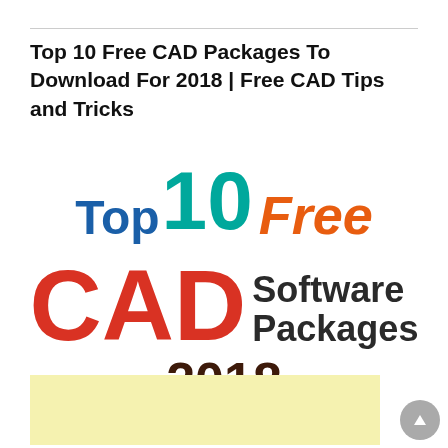Top 10 Free CAD Packages To Download For 2018 | Free CAD Tips and Tricks
[Figure (infographic): Colorful typographic infographic reading 'Top 10 Free CAD Software Packages 2018' with 'Top' in blue, '10' in teal, 'Free' in orange italic, 'CAD' in large red, 'Software Packages' in dark gray, and '2018' in dark brown.]
[Figure (other): Light yellow advertisement placeholder rectangle at the bottom of the page.]